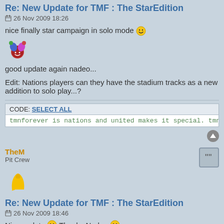Re: New Update for TMF : The StarEdition
26 Nov 2009 18:26
nice finally star campaign in solo mode
[Figure (illustration): Jester/clown emoji icon]
good update again nadeo...
Edit: Nations players can they have the stadium tracks as a new addition to solo play...?
CODE: SELECT ALL
tmnforever is nations and united makes it special. tmnforever has unite
TheM
Pit Crew
[Figure (illustration): Yellow P logo / Pit Crew avatar icon]
Re: New Update for TMF : The StarEdition
26 Nov 2009 18:46
Nice update :) Thanks Nadeo :)